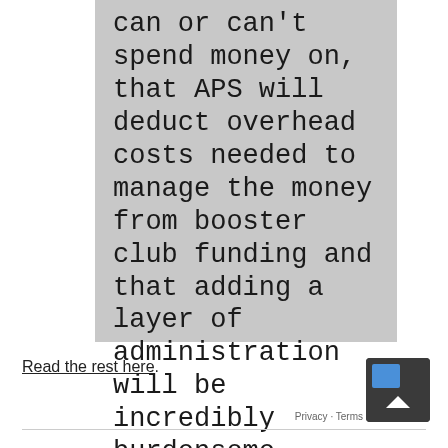can or can't spend money on, that APS will deduct overhead costs needed to manage the money from booster club funding and that adding a layer of administration will be incredibly burdensome.
Read the rest here.